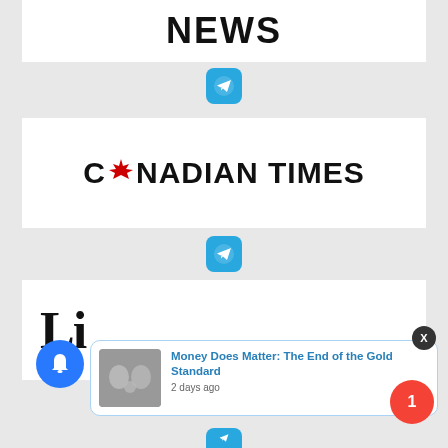NEWS
[Figure (logo): Telegram icon button (blue rounded square with white paper plane)]
[Figure (logo): Canadian Times logo with maple leaf replacing letter A]
[Figure (logo): Telegram icon button (blue rounded square with white paper plane)]
[Figure (logo): Newspaper logo in gothic/blackletter style showing partial letters L]
[Figure (screenshot): Notification popup: Money Does Matter: The End of the Gold Standard, 2 days ago]
[Figure (logo): Telegram icon button partial at bottom]